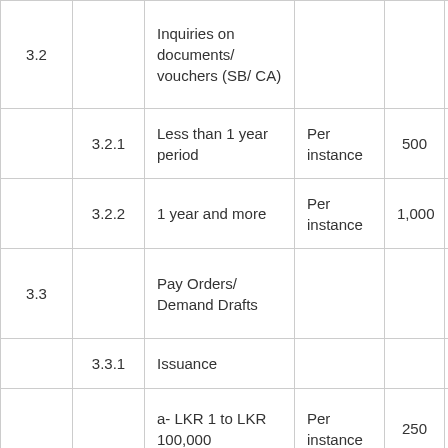| 3.2 |  | Inquiries on documents/ vouchers (SB/ CA) |  |  |  |
|  | 3.2.1 | Less than 1 year period | Per instance | 500 | 5 |
|  | 3.2.2 | 1 year and more | Per instance | 1,000 | 1 |
| 3.3 |  | Pay Orders/ Demand Drafts |  |  | N |
|  | 3.3.1 | Issuance |  |  |  |
|  |  | a- LKR 1 to LKR 100,000 | Per instance | 250 |  |